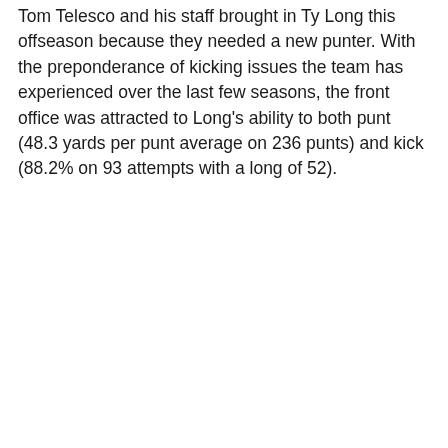Tom Telesco and his staff brought in Ty Long this offseason because they needed a new punter. With the preponderance of kicking issues the team has experienced over the last few seasons, the front office was attracted to Long's ability to both punt (48.3 yards per punt average on 236 punts) and kick (88.2% on 93 attempts with a long of 52).